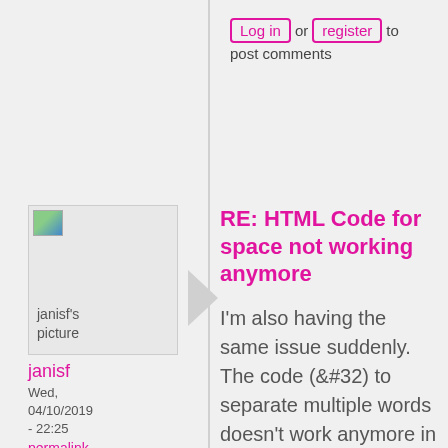Log in or register to post comments
[Figure (photo): janisf's profile picture placeholder]
janisf
Wed, 04/10/2019 - 22:25
permalink
RE: HTML Code for space not working anymore
I'm also having the same issue suddenly. The code (&#32) to separate multiple words doesn't work anymore in Mark the Word. The code shows instead of a space between the